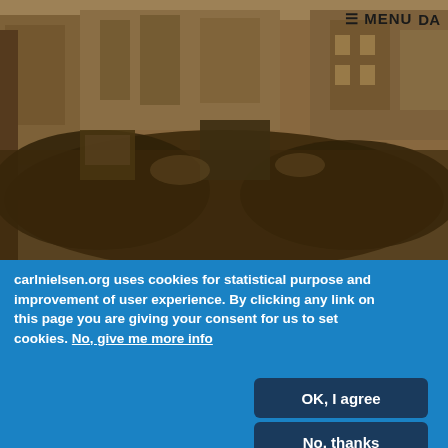[Figure (photo): Historical black and white sepia-toned photograph showing a large crowd of people filling a city street, with buildings, trams and vehicles visible. A navigation menu bar with hamburger icon, MENU text and DA language toggle appears overlaid at the top right.]
carlnielsen.org uses cookies for statistical purpose and improvement of user experience. By clicking any link on this page you are giving your consent for us to set cookies. No, give me more info
OK, I agree
No, thanks